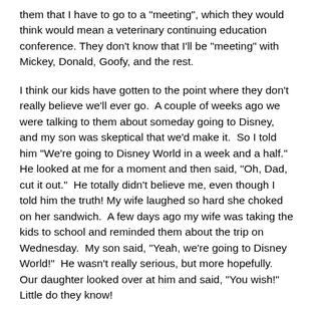them that I have to go to a "meeting", which they would think would mean a veterinary continuing education conference. They don't know that I'll be "meeting" with Mickey, Donald, Goofy, and the rest.
I think our kids have gotten to the point where they don't really believe we'll ever go.  A couple of weeks ago we were talking to them about someday going to Disney, and my son was skeptical that we'd make it.  So I told him "We're going to Disney World in a week and a half."  He looked at me for a moment and then said, "Oh, Dad, cut it out."  He totally didn't believe me, even though I told him the truth! My wife laughed so hard she choked on her sandwich.  A few days ago my wife was taking the kids to school and reminded them about the trip on Wednesday.  My son said, "Yeah, we're going to Disney World!"  He wasn't really serious, but more hopefully.  Our daughter looked over at him and said, "You wish!"  Little do they know!
Our plan is to pick them up from school and start driving to Florida.  It will be about an eight hour drive for us, so we'll get there somewhere around 11:00-12:00 tonight.  Hopefully